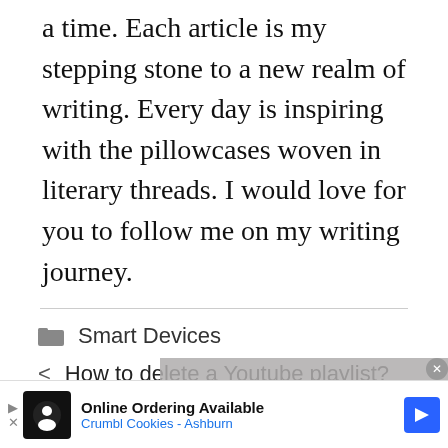a time. Each article is my stepping stone to a new realm of writing. Every day is inspiring with the pillowcases woven in literary threads. I would love for you to follow me on my writing journey.
Smart Devices
< How to delete a Youtube playlist?
> How to delete your OkCupid account?
[Figure (screenshot): Video player overlay showing 'No compatible source was found for this media.']
[Figure (infographic): Advertisement bar: Online Ordering Available - Crumbl Cookies - Ashburn]